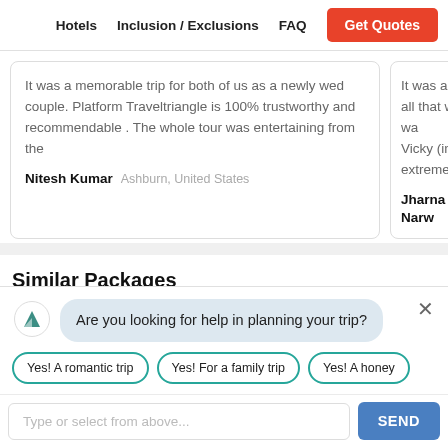Hotels  Inclusion / Exclusions  FAQ  Get Quotes
It was a memorable trip for both of us as a newly wed couple. Platform Traveltriangle is 100% trustworthy and recommendable . The whole tour was entertaining from the
Nitesh Kumar  Ashburn, United States
It was a very  all that we wa Vicky (in Viet  extremely eff
Jharna Narw
Similar Packages
[Figure (photo): Dark travel package image strip with eye/heart icons]
Are you looking for help in planning your trip?
Yes! A romantic trip
Yes! For a family trip
Yes! A honey
Type or select from above...
SEND